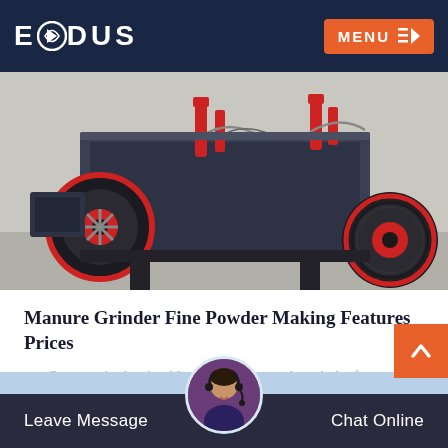EXODUS  MENU
[Figure (photo): Industrial grinding/crushing machinery with red and black components, pulleys, and mechanical parts in a factory setting]
Manure Grinder Fine Powder Making Features Prices
Contents 1 why should you buy fine powder grinder for your fertilizer production line 11 crushing fermented organic…
READ MORE
Leave Message  Chat Online